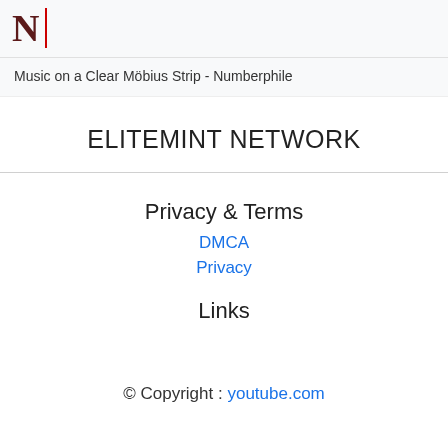[Figure (logo): Numberphile logo: stylized letter N in dark red with a vertical red bar divider]
Music on a Clear Möbius Strip - Numberphile
ELITEMINT NETWORK
Privacy & Terms
DMCA
Privacy
Links
© Copyright : youtube.com